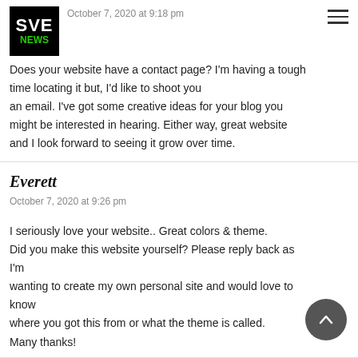[Figure (logo): SVE NEWS logo — black background with white SVE text and green NEWS text]
October 7, 2020 at 9:18 pm
Does your website have a contact page? I'm having a tough time locating it but, I'd like to shoot you an email. I've got some creative ideas for your blog you might be interested in hearing. Either way, great website and I look forward to seeing it grow over time.
Everett
October 7, 2020 at 9:26 pm
I seriously love your website.. Great colors & theme. Did you make this website yourself? Please reply back as I'm wanting to create my own personal site and would love to know where you got this from or what the theme is called. Many thanks!